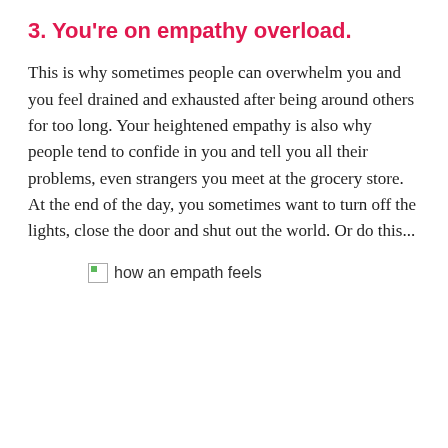3. You're on empathy overload.
This is why sometimes people can overwhelm you and you feel drained and exhausted after being around others for too long. Your heightened empathy is also why people tend to confide in you and tell you all their problems, even strangers you meet at the grocery store. At the end of the day, you sometimes want to turn off the lights, close the door and shut out the world. Or do this...
[Figure (photo): Broken image placeholder with alt text 'how an empath feels']